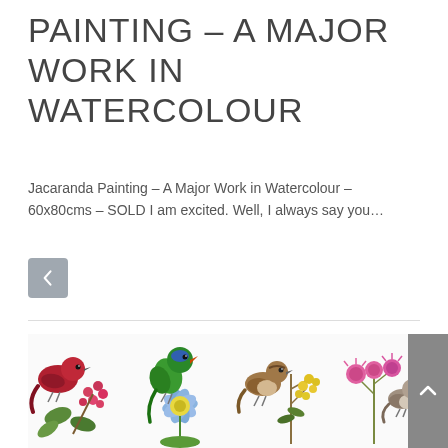PAINTING – A MAJOR WORK IN WATERCOLOUR
Jacaranda Painting – A Major Work in Watercolour – 60x80cms – SOLD I am excited. Well, I always say you…
[Figure (other): Share button icon — a less-than symbol inside a rounded square grey button]
[Figure (illustration): Row of four watercolour illustrations of birds with flowers and plants: a red bird with pink berries, a green parrot with blue water lily, a brown sparrow with yellow wattle, and a small bird with pink thistle flowers. A grey scroll-to-top button appears on the far right.]